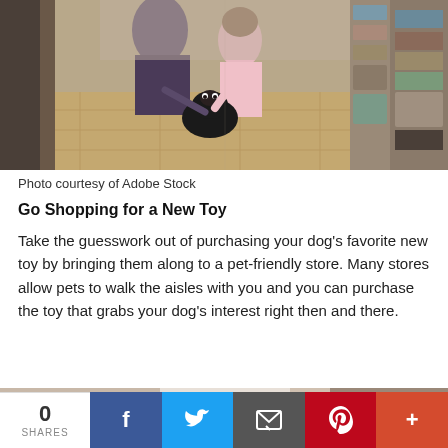[Figure (photo): A child and adult crouching down to pet a small black pug dog in a pet-friendly store aisle, with pet supplies on shelves in the background.]
Photo courtesy of Adobe Stock
Go Shopping for a New Toy
Take the guesswork out of purchasing your dog's favorite new toy by bringing them along to a pet-friendly store. Many stores allow pets to walk the aisles with you and you can purchase the toy that grabs your dog's interest right then and there.
[Figure (photo): Partial bottom image showing a dog, appears to be a light-colored dog on a floor with a toy nearby.]
0 SHARES | Facebook | Twitter | Email | Pinterest | More